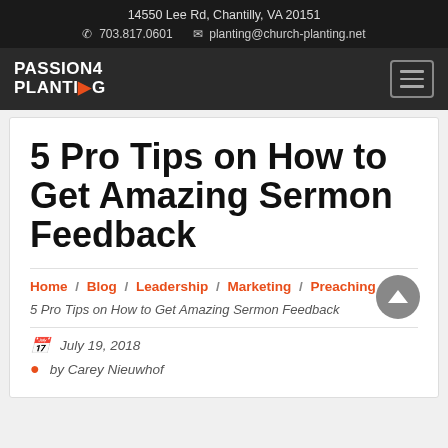14550 Lee Rd, Chantilly, VA 20151 | 703.817.0601 | planting@church-planting.net
[Figure (logo): Passion4Planting logo with orange accent and hamburger menu button]
5 Pro Tips on How to Get Amazing Sermon Feedback
Home / Blog / Leadership / Marketing / Preaching /
5 Pro Tips on How to Get Amazing Sermon Feedback
July 19, 2018
by Carey Nieuwhof